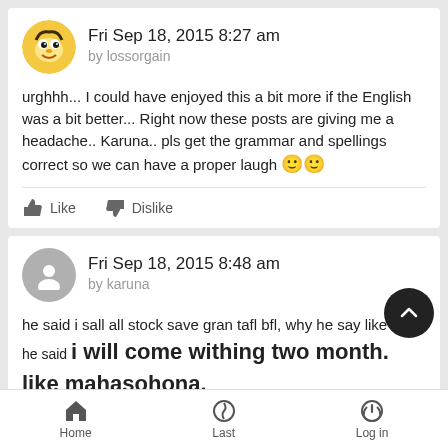Fri Sep 18, 2015 8:27 am
by lossorgain
urghhh... I could have enjoyed this a bit more if the English was a bit better... Right now these posts are giving me a headache.. Karuna.. pls get the grammar and spellings correct so we can have a proper laugh 🙂🙂
Like   Dislike
Fri Sep 18, 2015 8:48 am
by karuna
he said i sall all stock save gran tafl bfl, why he say like this. he said i will come withing two month. like mahasohona.
kanati kamana